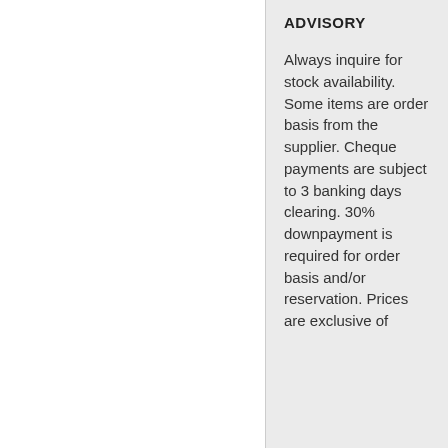ADVISORY
Always inquire for stock availability. Some items are order basis from the supplier. Cheque payments are subject to 3 banking days clearing. 30% downpayment is required for order basis and/or reservation. Prices are exclusive of